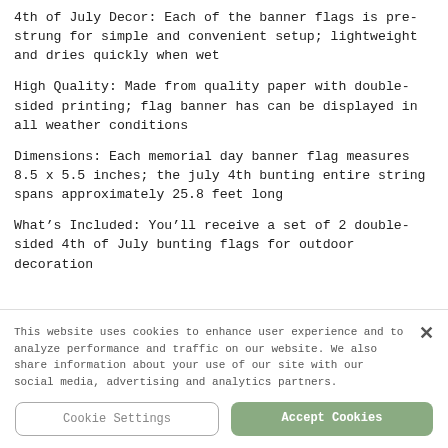4th of July Decor: Each of the banner flags is pre-strung for simple and convenient setup; lightweight and dries quickly when wet
High Quality: Made from quality paper with double-sided printing; flag banner has can be displayed in all weather conditions
Dimensions: Each memorial day banner flag measures 8.5 x 5.5 inches; the july 4th bunting entire string spans approximately 25.8 feet long
What’s Included: You’ll receive a set of 2 double-sided 4th of July bunting flags for outdoor decoration
This website uses cookies to enhance user experience and to analyze performance and traffic on our website. We also share information about your use of our site with our social media, advertising and analytics partners.
Cookie Settings | Accept Cookies